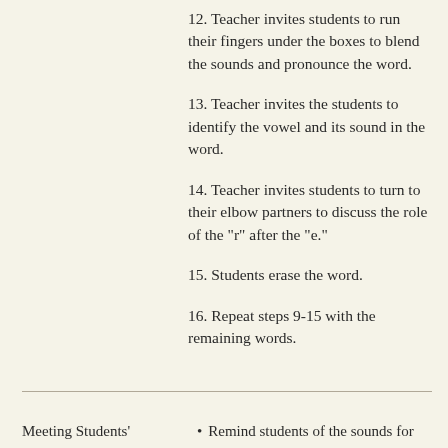12. Teacher invites students to run their fingers under the boxes to blend the sounds and pronounce the word.
13. Teacher invites the students to identify the vowel and its sound in the word.
14. Teacher invites students to turn to their elbow partners to discuss the role of the "r" after the "e."
15. Students erase the word.
16. Repeat steps 9-15 with the remaining words.
Meeting Students'
Remind students of the sounds for